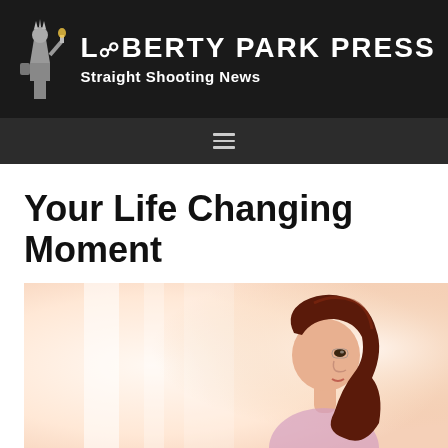Liberty Park Press — Straight Shooting News
Your Life Changing Moment
June 11, 2017 By Michelle Hollomon
[Figure (photo): A woman with dark red hair looking to the side, softly lit in warm light near a window]